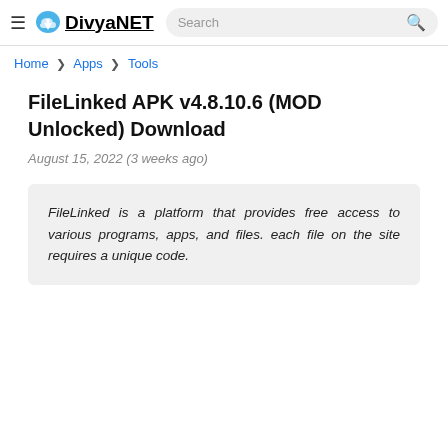DivyaNET — Search bar
Home > Apps > Tools
FileLinked APK v4.8.10.6 (MOD Unlocked) Download
August 15, 2022 (3 weeks ago)
FileLinked is a platform that provides free access to various programs, apps, and files. each file on the site requires a unique code.